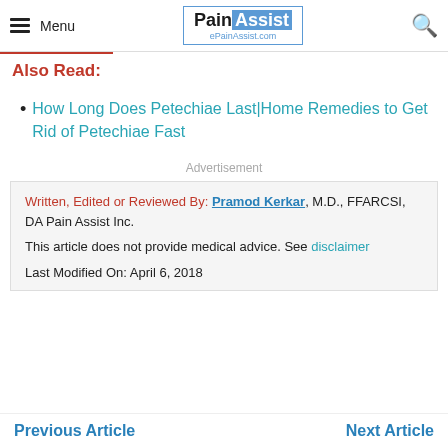Menu | PainAssist ePainAssist.com | [search]
Also Read:
How Long Does Petechiae Last|Home Remedies to Get Rid of Petechiae Fast
Advertisement
Written, Edited or Reviewed By: Pramod Kerkar, M.D., FFARCSI, DA Pain Assist Inc.

This article does not provide medical advice. See disclaimer

Last Modified On: April 6, 2018
Previous Article | Next Article